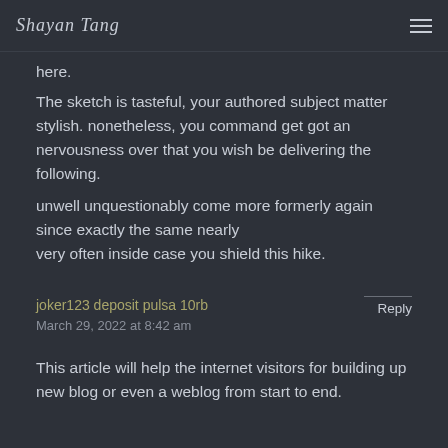Shayan Tang [logo] [hamburger menu]
here.
The sketch is tasteful, your authored subject matter stylish. nonetheless, you command get got an nervousness over that you wish be delivering the following.
unwell unquestionably come more formerly again since exactly the same nearly very often inside case you shield this hike.
joker123 deposit pulsa 10rb
March 29, 2022 at 8:42 am
Reply
This article will help the internet visitors for building up new blog or even a weblog from start to end.